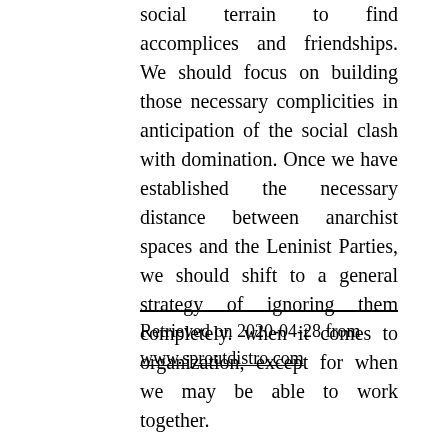social terrain to find accomplices and friendships. We should focus on building those necessary complicities in anticipation of the social clash with domination. Once we have established the necessary distance between anarchist spaces and the Leninist Parties, we should shift to a general strategy of ignoring them completely. when it comes to organization, except for when we may be able to work together.
Retrieved on 2020-04-28 from www.sproutdistro.com